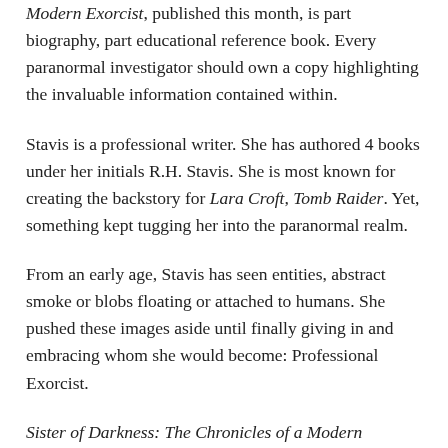Modern Exorcist, published this month, is part biography, part educational reference book. Every paranormal investigator should own a copy highlighting the invaluable information contained within.
Stavis is a professional writer. She has authored 4 books under her initials R.H. Stavis. She is most known for creating the backstory for Lara Croft, Tomb Raider. Yet, something kept tugging her into the paranormal realm.
From an early age, Stavis has seen entities, abstract smoke or blobs floating or attached to humans. She pushed these images aside until finally giving in and embracing whom she would become: Professional Exorcist.
Sister of Darkness: The Chronicles of a Modern